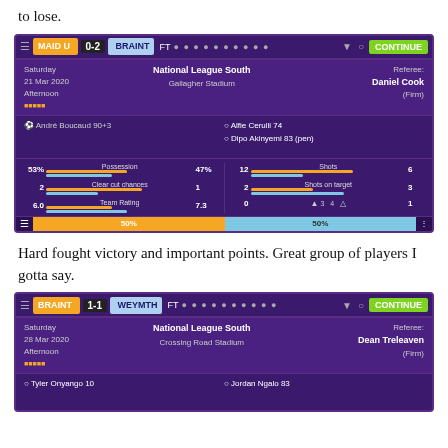to lose.
[Figure (screenshot): Football Manager match result screen: MAID U 0-2 BRAINT FT. Saturday 21 Mar 2020, Afternoon. National League South, Gallagher Stadium. Referee: Daniel Cook (Firm). Goals: André Boucaud 90+3 (home); Alfie Cerulli 74, Dipo Akinyemi 83 (pen) (away). Stats: Possession 53%-47%, Clear cut chances 2-1, Team Rating 6.0-7.3, Shots 12-6, Shots on target 2-3. Bottom bar: 50%-50%.]
Hard fought victory and important points. Great group of players I gotta say.
[Figure (screenshot): Football Manager match result screen: BRAINT 1-1 WEYMTH FT. Saturday 28 Mar 2020, Afternoon. National League South, Crossing Road Stadium. Referee: Dean Treleaven (Firm). Goals: Tyler Onyango 10 (home); Jordan Ngalo 83 (away).]